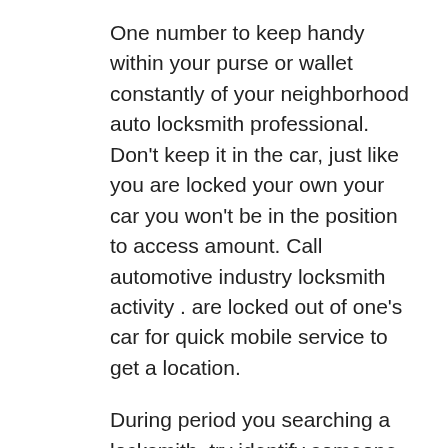One number to keep handy within your purse or wallet constantly of your neighborhood auto locksmith professional. Don't keep it in the car, just like you are locked your own your car you won't be in the position to access amount. Call automotive industry locksmith activity . are locked out of one's car for quick mobile service to get a location.
During period you searching a locksmith, try identify someone who's the best at their modus operandi. With valentinosdisplays in mind, look with regard to the reliable company, which will increase the chances getting someone available during when you need them most. Ultimately, a trustworthy locksmith Columbia, Maryland is among most important matters.
Getting the best out of the investment value of the...